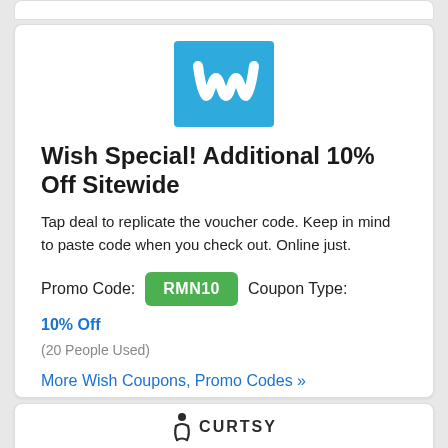[Figure (logo): Wish app logo: blue square with white stylized 'w' letter]
Wish Special! Additional 10% Off Sitewide
Tap deal to replicate the voucher code. Keep in mind to paste code when you check out. Online just.
Promo Code: RMN10   Coupon Type: 10% Off
(20 People Used)
More Wish Coupons, Promo Codes »
[Figure (logo): Curtsy logo: small figure icon with CURTSY text in dark uppercase letters]